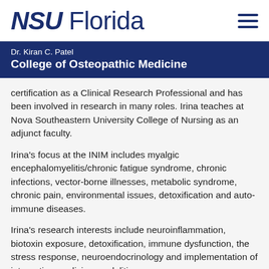NSU Florida
Dr. Kiran C. Patel
College of Osteopathic Medicine
certification as a Clinical Research Professional and has been involved in research in many roles. Irina teaches at Nova Southeastern University College of Nursing as an adjunct faculty.
Irina's focus at the INIM includes myalgic encephalomyelitis/chronic fatigue syndrome, chronic infections, vector-borne illnesses, metabolic syndrome, chronic pain, environmental issues, detoxification and auto-immune diseases.
Irina's research interests include neuroinflammation, biotoxin exposure, detoxification, immune dysfunction, the stress response, neuroendocrinology and implementation of integrative medicine modalities.
When Irina is not working, you can find her with her family